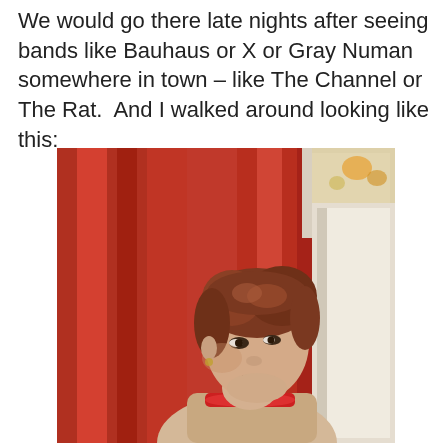We would go there late nights after seeing bands like Bauhaus or X or Gray Numan somewhere in town – like The Channel or The Rat.  And I walked around looking like this:
[Figure (photo): A vintage photograph of a young person with a short reddish-brown punk-style haircut, wearing a red collar/choker, looking over their shoulder toward the camera. Background shows red curtains and a white door frame.]